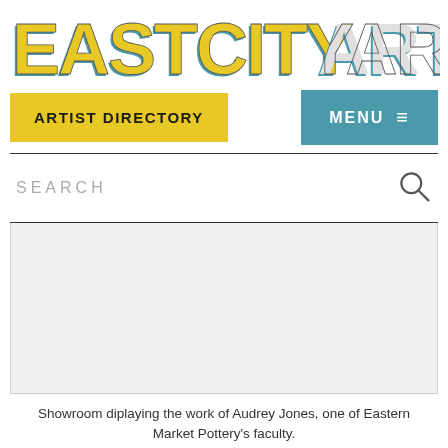[Figure (logo): EastCityArt logo with bold stylized text, yellow/teal 3D block letters on white background]
ARTIST DIRECTORY
MENU ≡
SEARCH
[Figure (photo): Showroom displaying the work of Audrey Jones, one of Eastern Market Pottery's faculty. Light-colored room, mostly white/empty visible area.]
Showroom diplaying the work of Audrey Jones, one of Eastern Market Pottery's faculty.